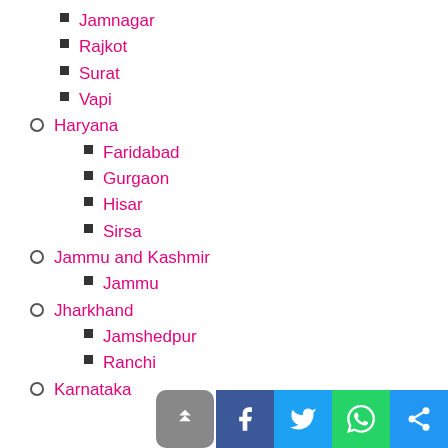Jamnagar
Rajkot
Surat
Vapi
Haryana
Faridabad
Gurgaon
Hisar
Sirsa
Jammu and Kashmir
Jammu
Jharkhand
Jamshedpur
Ranchi
Karnataka